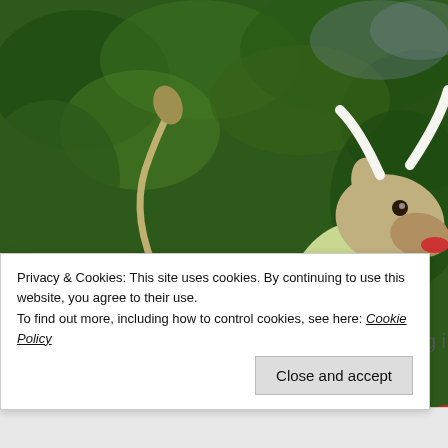[Figure (photo): A decorative ceramic or resin animal figurine (appears to be a cow or bull) painted in light green/yellow-green with a white floral saddle blanket decorated with pink flowers and green vines, wearing a blue and gold beaded collar, with white horns and a red mouth, set against a blurred green foliage background.]
Privacy & Cookies: This site uses cookies. By continuing to use this website, you agree to their use.
To find out more, including how to control cookies, see here: Cookie Policy
Close and accept